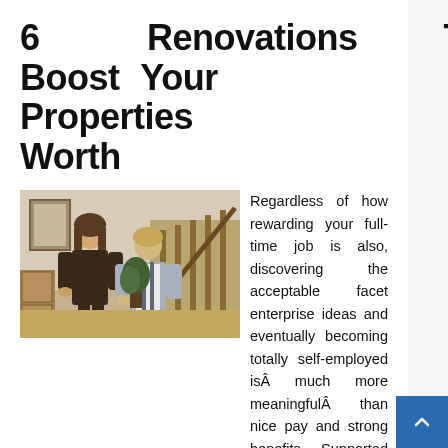6 Renovations To Boost Your Properties Worth
[Figure (photo): A woman and a teenage boy talking indoors near a staircase railing, in a home setting.]
Regardless of how rewarding your full-time job is also, discovering the acceptable facet enterprise ideas and eventually becoming totally self-employed isÂ much more meaningfulÂ than nice pay and strong benefits. Supported Employment companies are provided